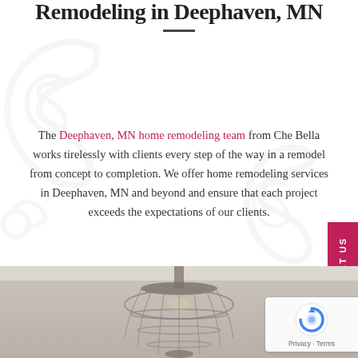Remodeling in Deephaven, MN
The Deephaven, MN home remodeling team from Che Bella works tirelessly with clients every step of the way in a remodel from concept to completion. We offer home remodeling services in Deephaven, MN and beyond and ensure that each project exceeds the expectations of our clients.
[Figure (photo): Decorative chandelier photo at bottom of page, light-colored ceiling background]
[Figure (other): Google reCAPTCHA badge with Privacy and Terms links]